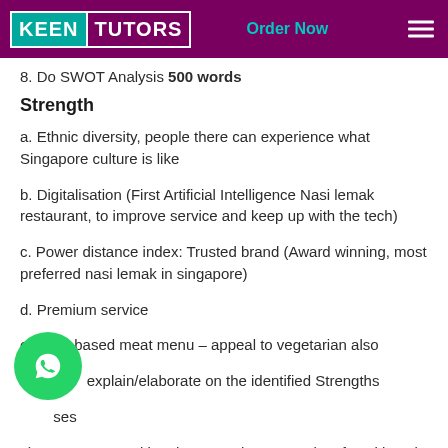KEEN TUTORS — Order Now
8. Do SWOT Analysis 500 words
Strength
a. Ethnic diversity, people there can experience what Singapore culture is like
b. Digitalisation (First Artificial Intelligence Nasi lemak restaurant, to improve service and keep up with the tech)
c. Power distance index: Trusted brand (Award winning, most preferred nasi lemak in singapore)
d. Premium service
e. plant-based meat menu – appeal to vegetarian also
note: explain/elaborate on the identified Strengths
Weaknesses
1) Intense competition, because there are a lot of nasi lemak